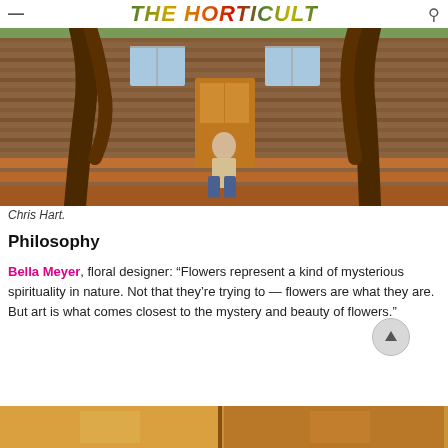THE HORTICULT
[Figure (photo): Man sitting on wooden steps of a shingle-sided house with large twisted tree trunks flanking the entrance]
Chris Hart.
Philosophy
Bella Meyer, floral designer: “Flowers represent a kind of mysterious spirituality in nature. Not that they’re trying to — flowers are what they are. But art is what comes closest to the mystery and beauty of flowers.”
[Figure (photo): Partial view of wooden interior, partially visible at bottom of page]